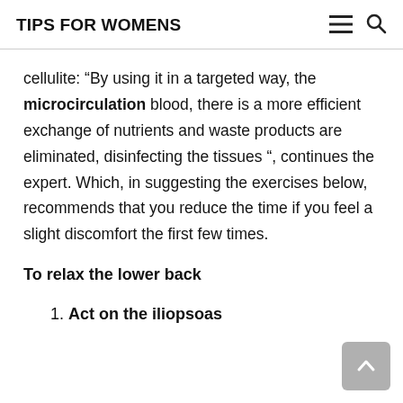TIPS FOR WOMENS
cellulite: “By using it in a targeted way, the microcirculation blood, there is a more efficient exchange of nutrients and waste products are eliminated, disinfecting the tissues ”, continues the expert. Which, in suggesting the exercises below, recommends that you reduce the time if you feel a slight discomfort the first few times.
To relax the lower back
1. Act on the iliopsoas